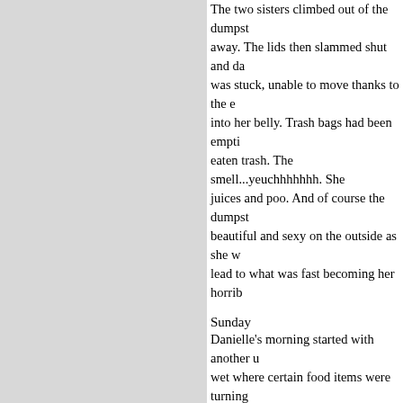The two sisters climbed out of the dumpster and ran away. The lids then slammed shut and darkness... was stuck, unable to move thanks to the eaten trash. The smell...yeuchhhhhhh. She juices and poo. And of course the dumpster beautiful and sexy on the outside as she lead to what was fast becoming her horrible
Sunday
Danielle's morning started with another wet where certain food items were turning dried from trash juices. With her hopes of Danielle wondered who else was out there checked inside the dumpster before would be too close a call to being dumped sooner. Then her colleague entered her mind. Stacey would notice something was up by shown up as of yet... The first time the lids opened today and Tara took some pictures of their hands more dog poo bins into the dumpster, "There you go, thought you might appreciate "You probably won't see much more of us much as we can today. It won't be long before We are working overtime to clear out as